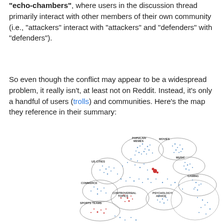"echo-chambers", where users in the discussion thread primarily interact with other members of their own community (i.e., "attackers" interact with "attackers" and "defenders" with "defenders").
So even though the conflict may appear to be a widespread problem, it really isn't, at least not on Reddit. Instead, it's only a handful of users (trolls) and communities. Here's the map they reference in their summary:
[Figure (network-graph): A network map of Reddit communities showing clusters of subreddits labeled: POPULAR/MEMES, MOVIES, MUSIC, GAMING, US CITIES, COMMERCE, CONTROVERSIAL TOPICS, PSYCHOLOGY/ADVICE, SPORTS TEAMS. Blue and red dots represent users, with ellipses drawn around community clusters.]